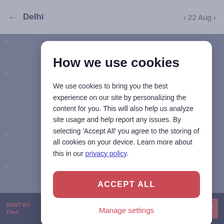[Figure (screenshot): Mobile app screenshot showing a train booking interface with Delhi as origin, date 22 Aug, filter options at bottom including Sort By Time, Cancellable, Evening 18:00-24:00, AC, Sleeper, Sort & Filter]
How we use cookies
We use cookies to bring you the best experience on our site by personalizing the content for you. This will also help us analyze site usage and help report any issues. By selecting 'Accept All' you agree to the storing of all cookies on your device. Learn more about this in our privacy policy.
ACCEPT ALL
Manage settings